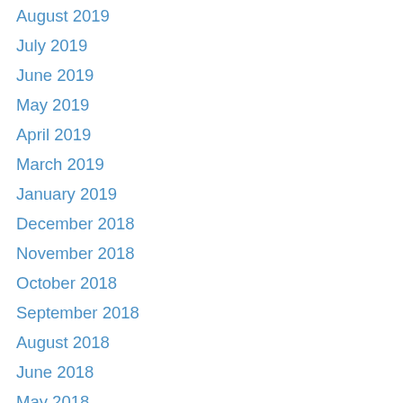August 2019
July 2019
June 2019
May 2019
April 2019
March 2019
January 2019
December 2018
November 2018
October 2018
September 2018
August 2018
June 2018
May 2018
April 2018
March 2018
January 2018
December 2017
October 2017
September 2017